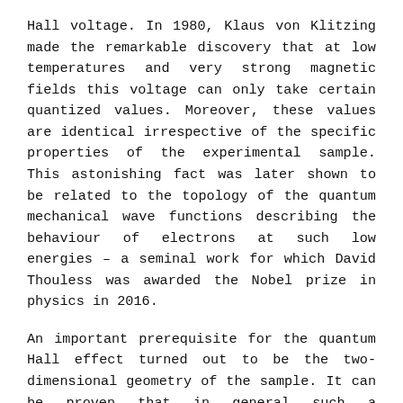Hall voltage. In 1980, Klaus von Klitzing made the remarkable discovery that at low temperatures and very strong magnetic fields this voltage can only take certain quantized values. Moreover, these values are identical irrespective of the specific properties of the experimental sample. This astonishing fact was later shown to be related to the topology of the quantum mechanical wave functions describing the behaviour of electrons at such low energies – a seminal work for which David Thouless was awarded the Nobel prize in physics in 2016.
An important prerequisite for the quantum Hall effect turned out to be the two-dimensional geometry of the sample. It can be proven that in general such a phenomenon cannot take place in three-dimensional systems – as exemplified by the fact that the direction transverse to the velocity of the particles is not defined